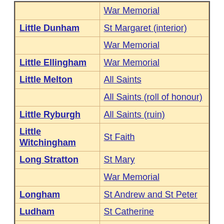| Place | Site |
| --- | --- |
|  | War Memorial |
| Little Dunham | St Margaret (interior) |
|  | War Memorial |
| Little Ellingham | War Memorial |
| Little Melton | All Saints |
|  | All Saints (roll of honour) |
| Little Ryburgh | All Saints (ruin) |
| Little Witchingham | St Faith |
| Long Stratton | St Mary |
|  | War Memorial |
| Longham | St Andrew and St Peter |
| Ludham | St Catherine |
|  | St Margaret |